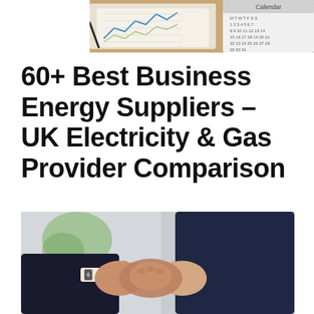[Figure (photo): Top image showing documents, charts, and a calendar on a desk — business/office context]
60+ Best Business Energy Suppliers – UK Electricity & Gas Provider Comparison
[Figure (photo): Two people in business suits shaking hands with a plant in the background]